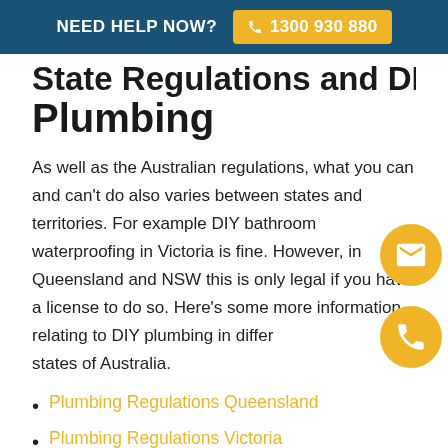NEED HELP NOW? 1300 930 880
State Regulations and DIY Plumbing
As well as the Australian regulations, what you can and can't do also varies between states and territories. For example DIY bathroom waterproofing in Victoria is fine. However, in Queensland and NSW this is only legal if you have a license to do so. Here's some more information relating to DIY plumbing in different states of Australia.
Plumbing Regulations Queensland
Plumbing Regulations Victoria
Plumbing Regulations South Australia